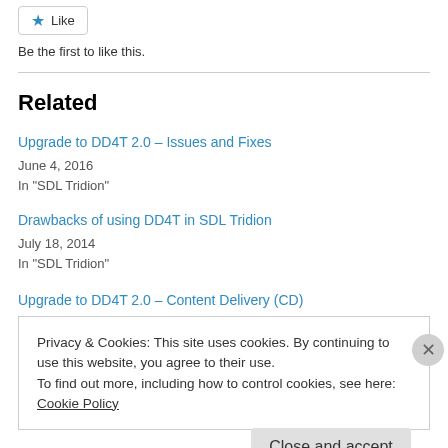★ Like
Be the first to like this.
Related
Upgrade to DD4T 2.0 – Issues and Fixes
June 4, 2016
In "SDL Tridion"
Drawbacks of using DD4T in SDL Tridion
July 18, 2014
In "SDL Tridion"
Upgrade to DD4T 2.0 – Content Delivery (CD)
Privacy & Cookies: This site uses cookies. By continuing to use this website, you agree to their use. To find out more, including how to control cookies, see here: Cookie Policy
Close and accept